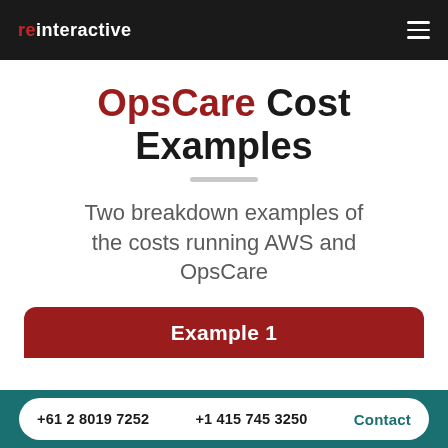reinteractive
OpsCare Cost Examples
Two breakdown examples of the costs running AWS and OpsCare
Example 1
+61 2 8019 7252   +1 415 745 3250   Contact